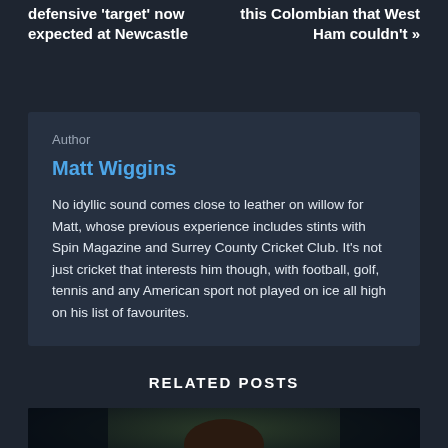defensive 'target' now expected at Newcastle
this Colombian that West Ham couldn't »
Author
Matt Wiggins
No idyllic sound comes close to leather on willow for Matt, whose previous experience includes stints with Spin Magazine and Surrey County Cricket Club. It's not just cricket that interests him though, with football, golf, tennis and any American sport not played on ice all high on his list of favourites.
RELATED POSTS
[Figure (photo): Partial photo of a person's face/head at the bottom of the page, dark background]